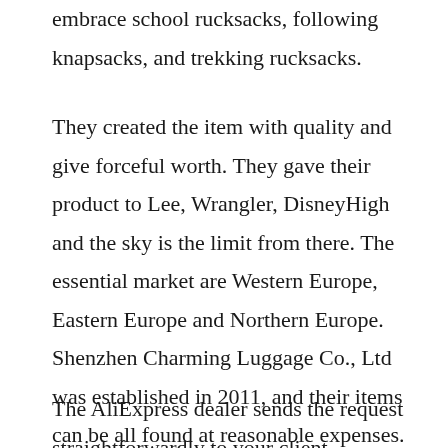embrace school rucksacks, following knapsacks, and trekking rucksacks.
They created the item with quality and give forceful worth. They gave their product to Lee, Wrangler, DisneyHigh and the sky is the limit from there. The essential market are Western Europe, Eastern Europe and Northern Europe. Shenzhen Charming Luggage Co., Ltd was established in 2011, and their items can be all found at reasonable expenses. All items they delivered are exclusive requirement and presently traded to various countries around the world.
The AliExpress dealer sends the request straightforwardly to your client. AliExpress is an